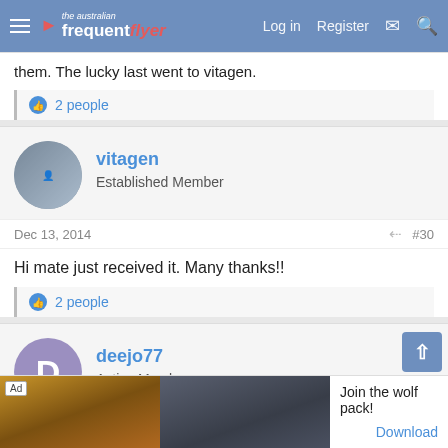Australian Frequent Flyer — Log in | Register
them. The lucky last went to vitagen.
👍 2 people
vitagen
Established Member
Dec 13, 2014  #30
Hi mate just received it. Many thanks!!
👍 2 people
deejo77
Active Member
Apr 5, 201…  #31
Ad — Join the wolf pack! Download